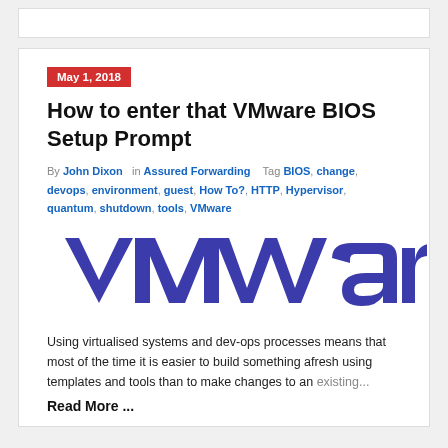May 1, 2018
How to enter that VMware BIOS Setup Prompt
By John Dixon  in Assured Forwarding  Tag BIOS, change, devops, environment, guest, How To?, HTTP, Hypervisor, quantum, shutdown, tools, VMware
[Figure (logo): VMware logo in blue]
Using virtualised systems and dev-ops processes means that most of the time it is easier to build something afresh using templates and tools than to make changes to an existing...
Read More...